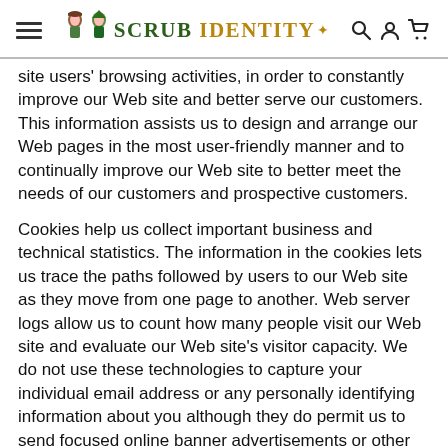Scrub Identity — navigation header with hamburger menu, logo, and icons
site users' browsing activities, in order to constantly improve our Web site and better serve our customers. This information assists us to design and arrange our Web pages in the most user-friendly manner and to continually improve our Web site to better meet the needs of our customers and prospective customers.
Cookies help us collect important business and technical statistics. The information in the cookies lets us trace the paths followed by users to our Web site as they move from one page to another. Web server logs allow us to count how many people visit our Web site and evaluate our Web site's visitor capacity. We do not use these technologies to capture your individual email address or any personally identifying information about you although they do permit us to send focused online banner advertisements or other such responses to you.
How Do We Protect Your Information?
We utilize encryption/security best practices to safeguard the confidentiality of personal information we collect from